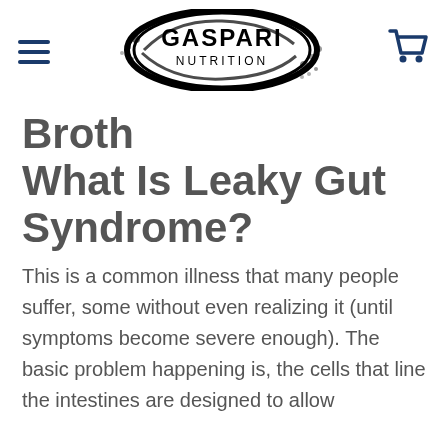Gaspari Nutrition
Broth
What Is Leaky Gut Syndrome?
This is a common illness that many people suffer, some without even realizing it (until symptoms become severe enough). The basic problem happening is, the cells that line the intestines are designed to allow